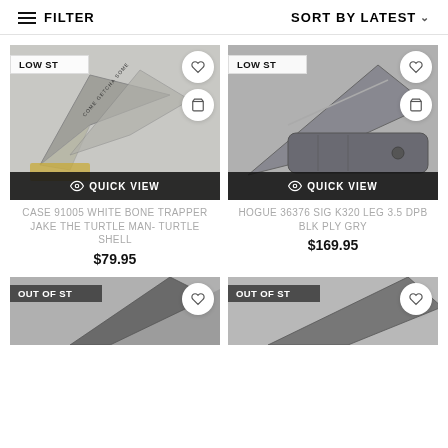FILTER | SORT BY LATEST
[Figure (photo): Case 91005 White Bone Trapper Jake The Turtle Man knife with LOW STOCK badge, heart and cart icons, Quick View button]
CASE 91005 WHITE BONE TRAPPER JAKE THE TURTLE MAN- TURTLE SHELL
$79.95
[Figure (photo): Hogue 36376 Sig K320 Leg 3.5 DPB BLK PLY GRY folding knife with LOW STOCK badge, heart and cart icons, Quick View button]
HOGUE 36376 SIG K320 LEG 3.5 DPB BLK PLY GRY
$169.95
[Figure (photo): Partial knife product image with OUT OF STOCK badge and heart icon at bottom of page]
[Figure (photo): Partial knife product image with OUT OF STOCK badge and heart icon at bottom of page]